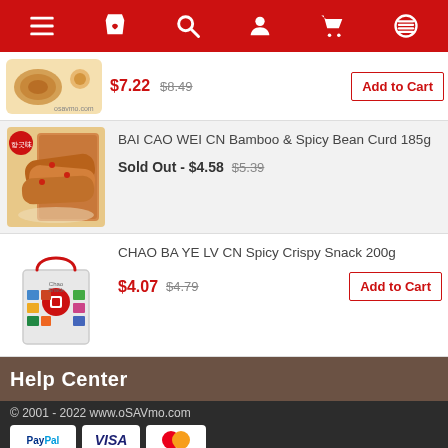Navigation bar with menu, shop, search, user, cart, and wallet icons
[Figure (photo): Partial view of a baked pastry product image, price $7.22 (was $8.49), Add to Cart button]
$7.22  $8.49   Add to Cart
[Figure (photo): BAI CAO WEI CN Bamboo & Spicy Bean Curd 185g product with food image]
BAI CAO WEI CN Bamboo & Spicy Bean Curd 185g
Sold Out - $4.58  $5.39
[Figure (photo): CHAO BA YE LV CN Spicy Crispy Snack 200g with shopping bag placeholder image]
CHAO BA YE LV CN Spicy Crispy Snack 200g
$4.07  $4.79   Add to Cart
Help Center
© 2001 - 2022 www.oSAVmo.com
PayPal  VISA  Mastercard